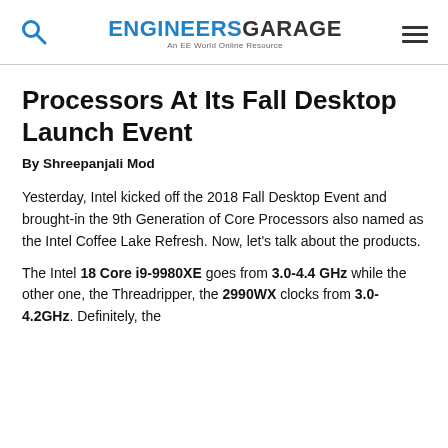ENGINEERS GARAGE — An EE World Online Resource
Processors At Its Fall Desktop Launch Event
By Shreepanjali Mod
Yesterday, Intel kicked off the 2018 Fall Desktop Event and brought-in the 9th Generation of Core Processors also named as the Intel Coffee Lake Refresh. Now, let's talk about the products.
The Intel 18 Core i9-9980XE goes from 3.0-4.4 GHz while the other one, the Threadripper, the 2990WX clocks from 3.0-4.2GHz. Definitely, the